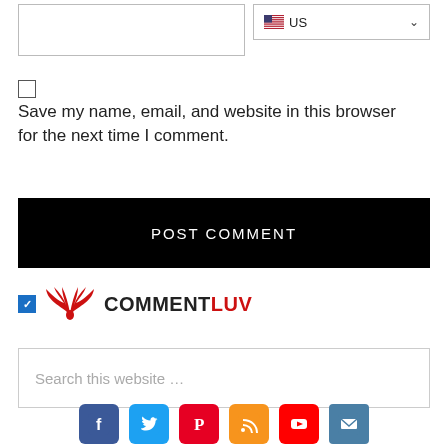[Figure (screenshot): Text input box (empty) and US country dropdown with flag]
[Figure (screenshot): Empty checkbox]
Save my name, email, and website in this browser for the next time I comment.
[Figure (screenshot): POST COMMENT button (black background, white text)]
[Figure (screenshot): CommentLuv checkbox (checked, blue) with phoenix logo and COMMENTLUV text]
[Figure (screenshot): Search this website... input box]
[Figure (screenshot): Social media icons: Facebook, Twitter, Pinterest, RSS, YouTube, Email]